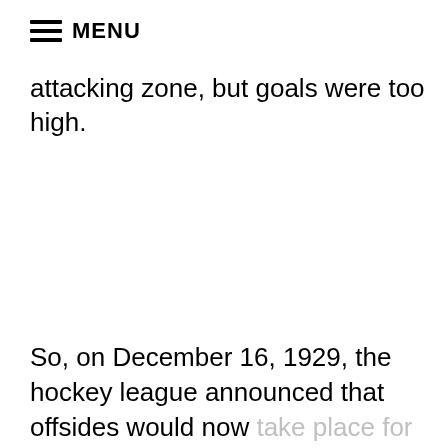MENU
attacking zone, but goals were too high.
So, on December 16, 1929, the hockey league announced that offsides would now take place for players proceeding the puck